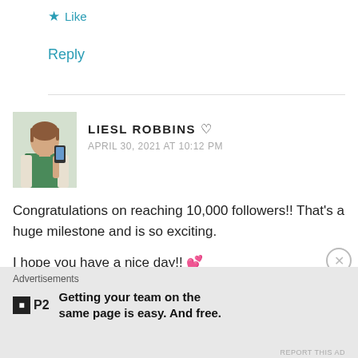★ Like
Reply
LIESL ROBBINS ♡
APRIL 30, 2021 AT 10:12 PM
Congratulations on reaching 10,000 followers!! That's a huge milestone and is so exciting.

I hope you have a nice day!! 💕
★ Liked by 1 person
Advertisements
Getting your team on the same page is easy. And free.